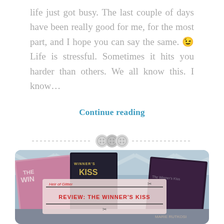life just got busy. The last couple of days have been really good for me, for the most part, and I hope you can say the same. 😉 Life is stressful. Sometimes it hits you harder than others. We all know this. I know…
Continue reading
[Figure (illustration): Three horizontal decorative button/dot icons on a dashed line divider]
[Figure (photo): Photo of stacked books including The Winner's Kiss by Marie Rutkoski, with an overlay box showing blog name 'Heir of Glitter' and review title 'REVIEW: THE WINNER'S KISS']